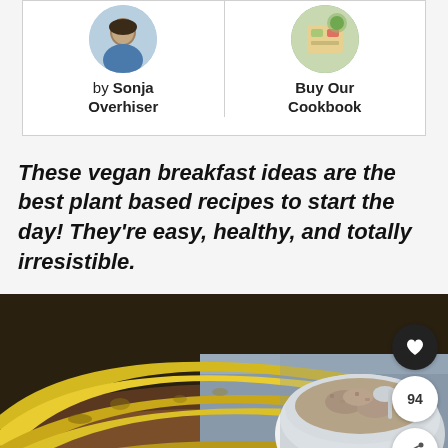by Sonja Overhiser
Buy Our Cookbook
These vegan breakfast ideas are the best plant based recipes to start the day! They're easy, healthy, and totally irresistible.
[Figure (photo): Photo of bananas in a bowl and a bowl of granola/oatmeal on a blue surface, with social sharing buttons overlaid on the right side]